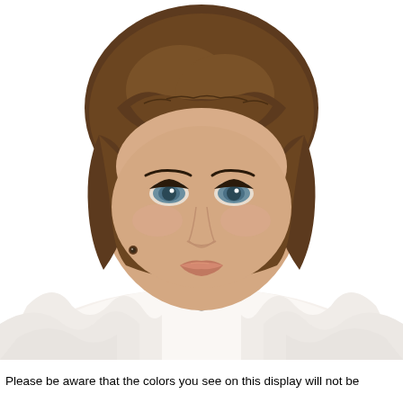[Figure (photo): A woman with a short brown bob hairstyle with bangs, blue eyes, wearing a white ruffled top and a diamond/crystal necklace, photographed against a white background. The photo is a product/catalog style portrait likely showing a wig.]
Please be aware that the colors you see on this display will not be